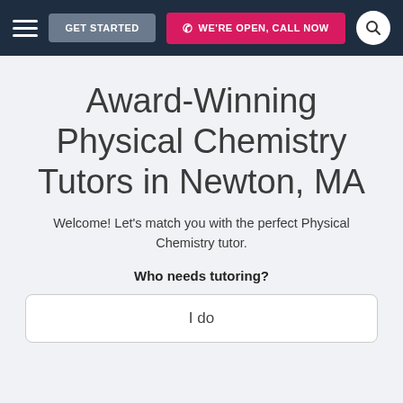GET STARTED | WE'RE OPEN, CALL NOW
Award-Winning Physical Chemistry Tutors in Newton, MA
Welcome! Let's match you with the perfect Physical Chemistry tutor.
Who needs tutoring?
I do